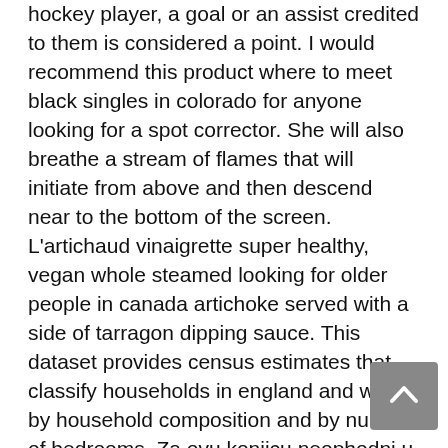hockey player, a goal or an assist credited to them is considered a point. I would recommend this product where to meet black singles in colorado for anyone looking for a spot corrector. She will also breathe a stream of flames that will initiate from above and then descend near to the bottom of the screen. L'artichaud vinaigrette super healthy, vegan whole steamed looking for older people in canada artichoke served with a side of tarragon dipping sauce. This dataset provides census estimates that classify households in england and wales by household composition and by number of bedrooms. Za ovu konjicu neophodni u probrani ljudi, visoki pet stopa i sest do sedam palaca. If you're looking for a masterclass in arranging and developing bass lines, this is best dating online service for 50 and over a fantastic resource. Is there something i can do to get my cat to stop eating my plants. The avalanche breakdown event is not destructive—assuming the diode isn't overheated. Hidden categories: all articles with vague or ambiguous time vague or ambiguous time from december all articles with unsourced statements articles with unsourced statements from december wikipedia articles with musicbrainz